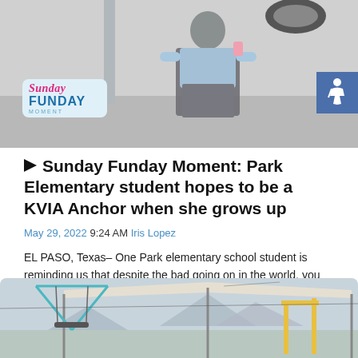[Figure (photo): Photo of a Park Elementary school student standing outdoors wearing a light blue jacket and checkered dress, with a 'Sunday Funday Moment' badge overlay in the lower left corner]
▶ Sunday Funday Moment: Park Elementary student hopes to be a KVIA Anchor when she grows up
May 29, 2022 9:24 AM Iris Lopez
EL PASO, Texas– One Park elementary school student is reminding us that despite the bad going on in the world, you should never stop going for your…
Continue Reading
[Figure (photo): Photo of a playground with swing set structure visible under a shade canopy, with mountains in the background]